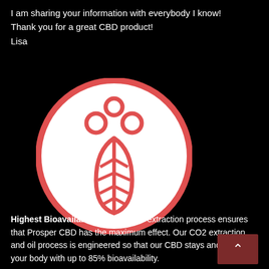I am sharing your information with everybody I know!
Thank you for a great CBD product!
Lisa
[Figure (illustration): A circular icon with a red/coral border on a white background featuring a stylized red leaf with vein lines and three circles above it, representing a CBD/hemp plant logo.]
Highest Bioavailability●●●●●●Our extraction process ensures that Prosper CBD has the maximum effect. Our CO2 extraction and oil process is engineered so that our CBD stays and works in your body with up to 85% bioavailability.